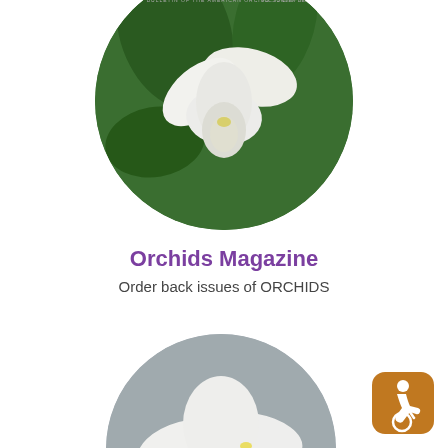[Figure (photo): Circular cropped magazine cover of ORCHIDS magazine showing white orchid flower with green background, with partial text ORCHIDS and bulletin of American Orchid Society at top]
Orchids Magazine
Order back issues of ORCHIDS
[Figure (photo): Circular cropped image of white orchid flowers on gray background]
[Figure (illustration): Accessibility badge: orange rounded rectangle with wheelchair user icon]